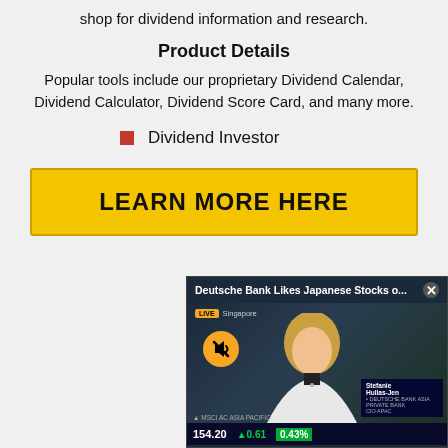shop for dividend information and research.
Product Details
Popular tools include our proprietary Dividend Calendar, Dividend Calculator, Dividend Score Card, and many more.
Dividend Investor
LEARN MORE HERE
[Figure (screenshot): Video overlay: Deutsche Bank Likes Japanese Stocks o... with LIVE Singapore banner, a blonde female presenter, lower-third for Stefanie Hullas-Jen Deutsche Bank Asia Private Bank CIO APAC, MSCI AC Asia Pacific ticker showing 154.20 +0.61 +0.43%]